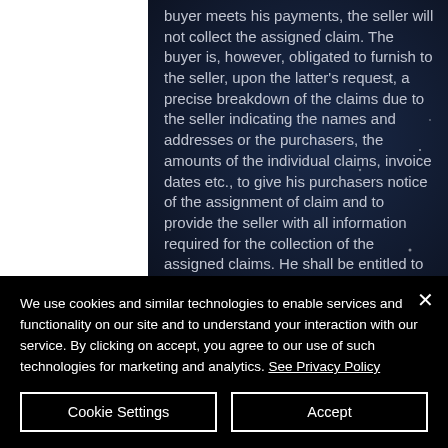buyer meets his payments, the seller will not collect the assigned claim. The buyer is, however, obligated to furnish to the seller, upon the latter's request, a precise breakdown of the claims due to the seller indicating the names and addresses or the purchasers, the amounts of the individual claims, invoice dates etc., to give his purchasers notice of the assignment of claim and to provide the seller with all information required for the collection of the assigned claims. He shall be entitled to collect the claims himself, however, only
We use cookies and similar technologies to enable services and functionality on our site and to understand your interaction with our service. By clicking on accept, you agree to our use of such technologies for marketing and analytics. See Privacy Policy